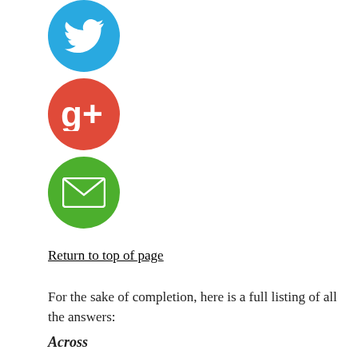[Figure (illustration): Twitter bird icon in blue circle]
[Figure (illustration): Google+ g+ icon in red circle]
[Figure (illustration): Email envelope icon in green circle]
Return to top of page
For the sake of completion, here is a full listing of all the answers:
Across
1. Theater purchase: Abbr. : TKT
4. Fertility doctor's focus : OVUM
8. Little sucker? : VAC
11. Mountain-to-mountain transport : ROPEWAY
18. Sch. with a Manchester campus : UNH
19. Apple product : NANO